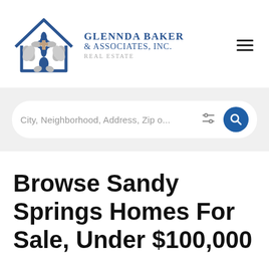[Figure (logo): Glennda Baker & Associates, Inc. Real Estate logo with house outline and fleur-de-lis pattern, and company name text in dark navy blue]
City, Neighborhood, Address, Zip o...
Browse Sandy Springs Homes For Sale, Under $100,000